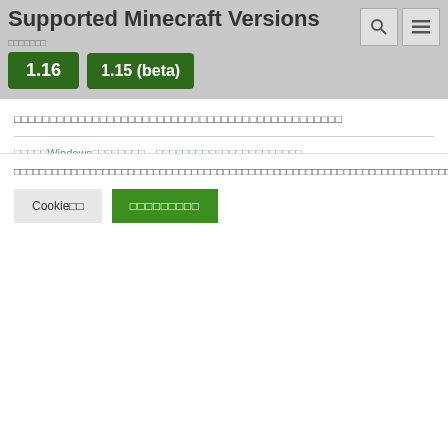Supported Minecraft Versions
[Figure (screenshot): Version badges showing 1.16 and 1.15 (beta) in green, with search and menu icons top right]
□□□□□□□□□□□□□□□□□□□□□□□□□□□□□□□□□□□□□□□□□□□□□□
□□□□□Windows□□□□□□□□　□□□□□□□□□□□□□□□□□□□□□□
□□□□□□
■MOD□□□□□□□□
■MOD□□□□
□□□□□□□□□□□□□□□□□□□□□□□□□□□□□□□□□□□□□□□□□□□□□□□□□□□□□□□□□□□□□□□□□□□□□□□□□□□□Cookie□□□□□□□□□□□□□□□Cookie□□□□□□□□□□□□□□□□□□□□□□□□□
Cookie□□
□□□□□□□□□